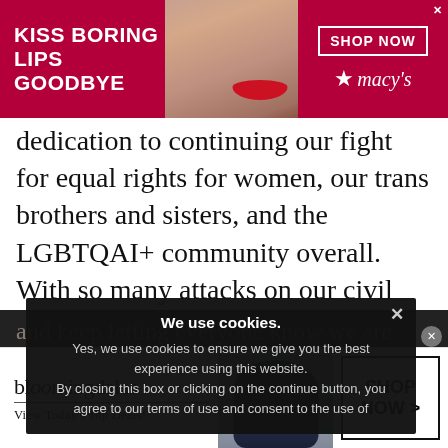[Figure (photo): Macy's advertisement banner with red background showing woman's face with red lips. Text reads 'KISS BORING LIPS GOODBYE' on left and 'SHOP NOW' button with Macy's star logo on right.]
dedication to continuing our fight for equal rights for women, our trans brothers and sisters, and the LGBTQAI+ community overall. With so many attacks on our civil liberties, we must never let our guard down
and keep letting everyone know we are equal and we will not stop fighting to create a world where everyone deserves
We use cookies.
Yes, we use cookies to ensure we give you the best experience using this website.
By closing this box or clicking on the continue button, you agree to our terms of use and consent to the use of
[Figure (photo): Bloomingdale's advertisement with woman wearing large blue/navy hat. Text reads 'bloomingdales View Today's Top Deals!' on left and 'SHOP NOW >' button on right.]